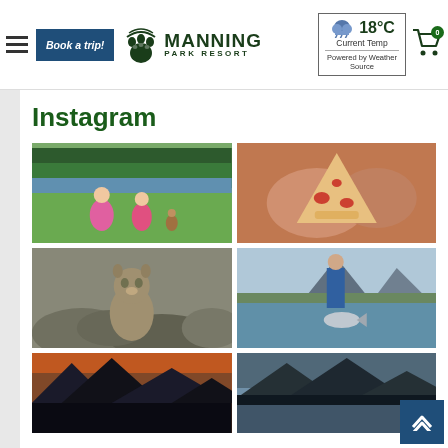Manning Park Resort – Navigation header with hamburger menu, Book a trip! button, Manning Park Resort logo, weather widget showing 18°C Current Temp Powered by Weather Source, and cart icon with 0 items
Instagram
[Figure (photo): Two young girls in pink jackets sitting on green grass with a chipmunk nearby, forest and lake in background]
[Figure (photo): Close-up of hands holding a pizza slice with toppings]
[Figure (photo): A marmot sitting upright on rocks]
[Figure (photo): Person holding up a large fish by a lake with mountains in background]
[Figure (photo): Mountain silhouette at dusk/sunset with orange sky]
[Figure (photo): Mountain landscape at dusk with silhouetted peaks]